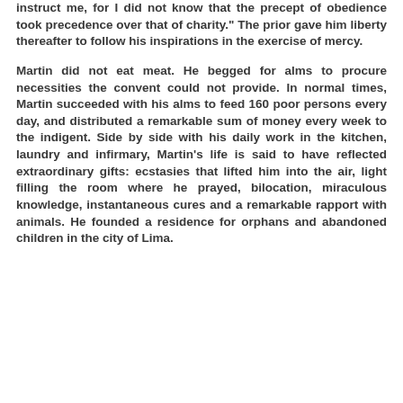instruct me, for I did not know that the precept of obedience took precedence over that of charity." The prior gave him liberty thereafter to follow his inspirations in the exercise of mercy.
Martin did not eat meat. He begged for alms to procure necessities the convent could not provide. In normal times, Martin succeeded with his alms to feed 160 poor persons every day, and distributed a remarkable sum of money every week to the indigent. Side by side with his daily work in the kitchen, laundry and infirmary, Martin's life is said to have reflected extraordinary gifts: ecstasies that lifted him into the air, light filling the room where he prayed, bilocation, miraculous knowledge, instantaneous cures and a remarkable rapport with animals. He founded a residence for orphans and abandoned children in the city of Lima.